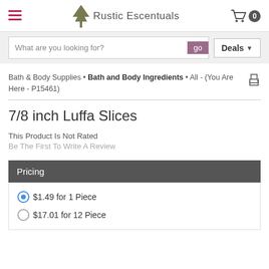Rustic Escentuals
What are you looking for? go | Deals
Bath & Body Supplies • Bath and Body Ingredients • All - (You Are Here - P15461)
7/8 inch Luffa Slices
This Product Is Not Rated
Be The First To Write A Review
| Pricing |
| --- |
| $1.49 for 1 Piece |
| $17.01 for 12 Piece |